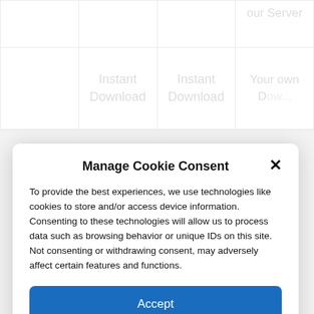|  | Instant
Download | Instant
Download | our Server

Your own
Dow... |
Manage Cookie Consent
To provide the best experiences, we use technologies like cookies to store and/or access device information. Consenting to these technologies will allow us to process data such as browsing behavior or unique IDs on this site. Not consenting or withdrawing consent, may adversely affect certain features and functions.
Accept
Deny
View preferences
Cookie policy   Privacy Statement   Impressum